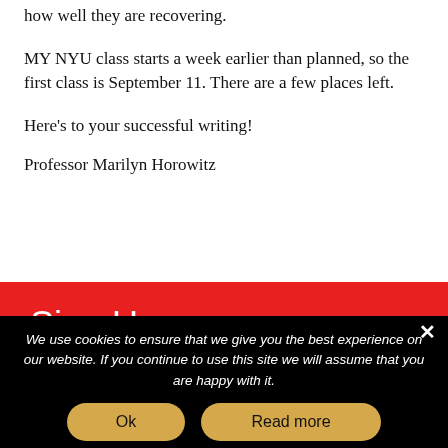how well they are recovering.
MY NYU class starts a week earlier than planned, so the first class is September 11. There are a few places left.
Here’s to your successful writing!
Professor Marilyn Horowitz
[Figure (screenshot): Red banner with 'Sign Up' heading and partial text 'for our Screenwriting Newsletter and']
We use cookies to ensure that we give you the best experience on our website. If you continue to use this site we will assume that you are happy with it.
Ok
Read more